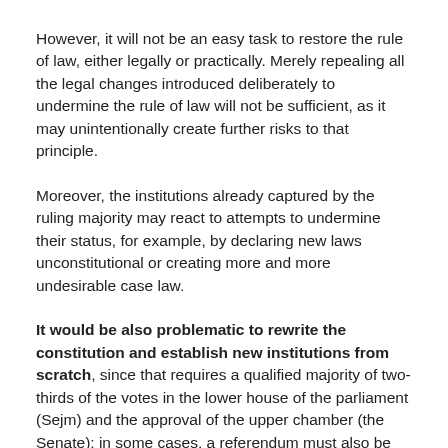However, it will not be an easy task to restore the rule of law, either legally or practically. Merely repealing all the legal changes introduced deliberately to undermine the rule of law will not be sufficient, as it may unintentionally create further risks to that principle.
Moreover, the institutions already captured by the ruling majority may react to attempts to undermine their status, for example, by declaring new laws unconstitutional or creating more and more undesirable case law.
It would be also problematic to rewrite the constitution and establish new institutions from scratch, since that requires a qualified majority of two-thirds of the votes in the lower house of the parliament (Sejm) and the approval of the upper chamber (the Senate); in some cases, a referendum must also be held to approve any constitutional amendments.
Furthermore, it would be an easy task to restore the rule of law...